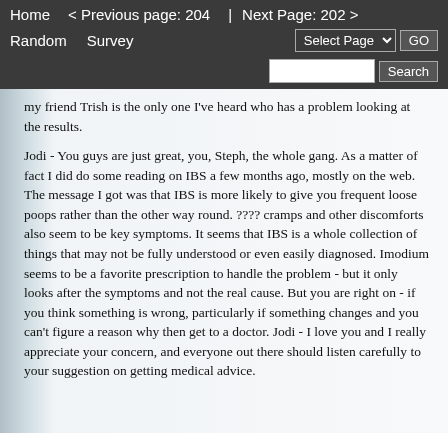Home   < Previous page: 204  |  Next Page: 202 >   Random   Survey   Select Page  GO   Search
my friend Trish is the only one I've heard who has a problem looking at the results.
Jodi - You guys are just great, you, Steph, the whole gang. As a matter of fact I did do some reading on IBS a few months ago, mostly on the web. The message I got was that IBS is more likely to give you frequent loose poops rather than the other way round. ???? cramps and other discomforts also seem to be key symptoms. It seems that IBS is a whole collection of things that may not be fully understood or even easily diagnosed. Imodium seems to be a favorite prescription to handle the problem - but it only looks after the symptoms and not the real cause. But you are right on - if you think something is wrong, particularly if something changes and you can't figure a reason why then get to a doctor. Jodi - I love you and I really appreciate your concern, and everyone out there should listen carefully to your suggestion on getting medical advice.